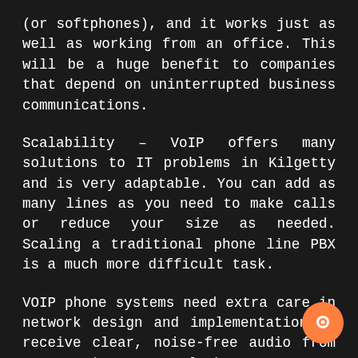(or softphones), and it works just as well as working from an office. This will be a huge benefit to companies that depend on uninterrupted business communications.
Scalability – VoIP offers many solutions to IT problems in Kilgetty and is very adaptable. You can add as many lines as you need to make calls or reduce your size as needed. Scaling a traditional phone line PBX is a much more difficult task.
VOIP phone systems need extra care in network design and implementation to receive clear, noise-free audio from VOIP phones. Telephone Systems Service technicians are highly trained professionals who can provide that extra care. To get the best out of your landline, we
[Figure (illustration): Orange circular chat/messenger button in the bottom-right corner]